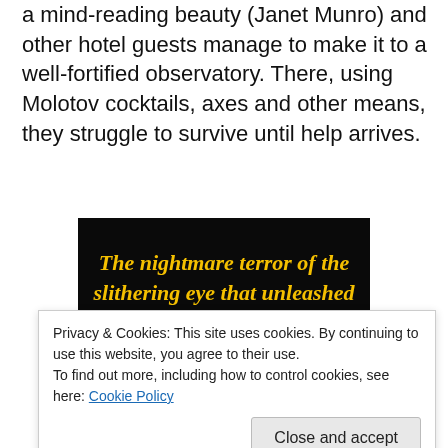a mind-reading beauty (Janet Munro) and other hotel guests manage to make it to a well-fortified observatory. There, using Molotov cocktails, axes and other means, they struggle to survive until help arrives.
[Figure (illustration): Movie poster with black background and bold yellow italic text reading: 'The nightmare terror of the slithering eye that unleashed agonizing horror on a screaming world!' with decorative glowing snake/eye imagery at the bottom.]
Privacy & Cookies: This site uses cookies. By continuing to use this website, you agree to their use.
To find out more, including how to control cookies, see here: Cookie Policy